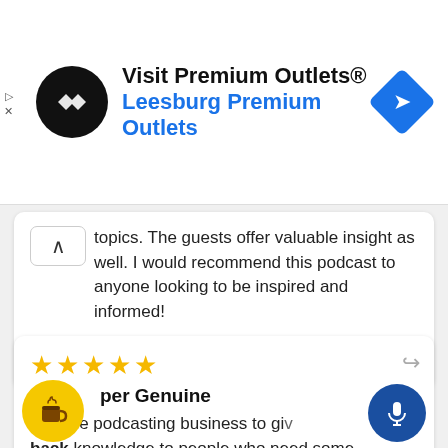[Figure (screenshot): Ad banner for Visit Premium Outlets® - Leesburg Premium Outlets with black circular logo and blue navigation diamond icon]
topics. The guests offer valuable insight as well. I would recommend this podcast to anyone looking to be inspired and informed!
megan@podcastingyou   Aug. 25, 2021
★★★★★ Super Genuine
is in the podcasting business to give back knowledge to people who need some